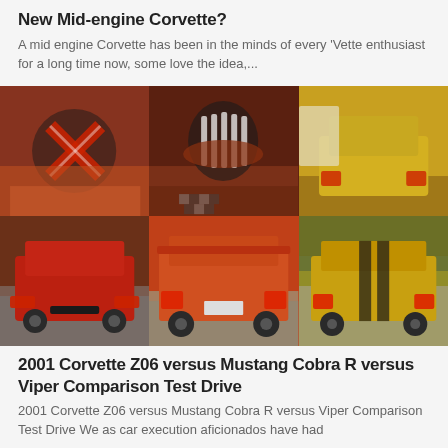New Mid-engine Corvette?
A mid engine Corvette has been in the minds of every 'Vette enthusiast for a long time now, some love the idea,...
[Figure (photo): 6-panel photo grid showing sports cars: top row shows Corvette emblem on orange car, Shelby Cobra snake logo on red car, yellow car rear. Bottom row shows red Viper rear, orange Mustang coupe rear, yellow Shelby rear on track.]
2001 Corvette Z06 versus Mustang Cobra R versus Viper Comparison Test Drive
2001 Corvette Z06 versus Mustang Cobra R versus Viper Comparison Test Drive We as car execution aficionados have had